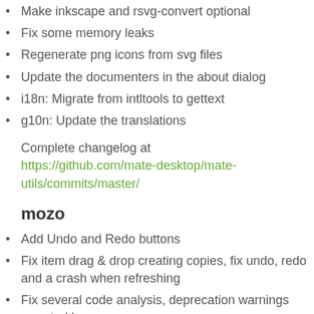Make inkscape and rsvg-convert optional
Fix some memory leaks
Regenerate png icons from svg files
Update the documenters in the about dialog
i18n: Migrate from intltools to gettext
g10n: Update the translations
Complete changelog at https://github.com/mate-desktop/mate-utils/commits/master/
mozo
Add Undo and Redo buttons
Fix item drag & drop creating copies, fix undo, redo and a crash when refreshing
Fix several code analysis, deprecation warnings reported by